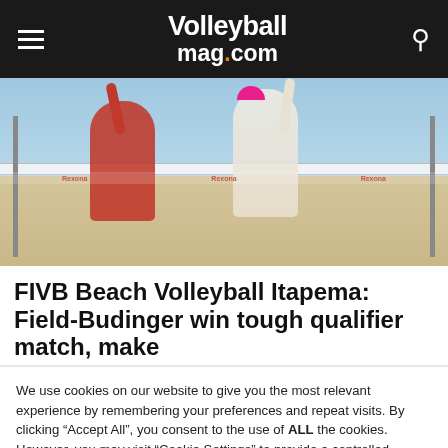Volleyballmag.com
[Figure (photo): Two beach volleyball players jumping at the net, one in red the other in white, competing at the FIVB Beach Volleyball Itapema tournament]
FIVB Beach Volleyball Itapema: Field-Budinger win tough qualifier match, make
We use cookies on our website to give you the most relevant experience by remembering your preferences and repeat visits. By clicking "Accept All", you consent to the use of ALL the cookies. However, you may visit "Cookie Settings" to provide a controlled consent.